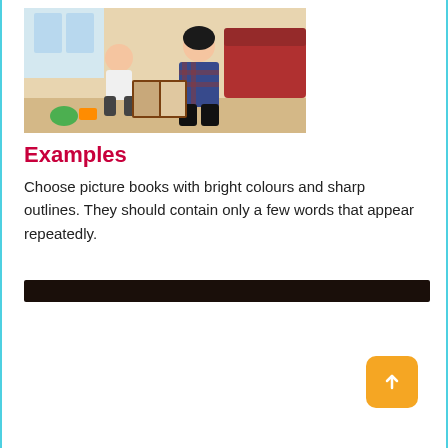[Figure (photo): A woman and a young child sitting on the floor reading a picture book together. The child is smiling. There are toys nearby. Indoor setting.]
Examples
Choose picture books with bright colours and sharp outlines. They should contain only a few words that appear repeatedly.
[Figure (other): A dark/black horizontal bar element, likely a redacted or decorative bar.]